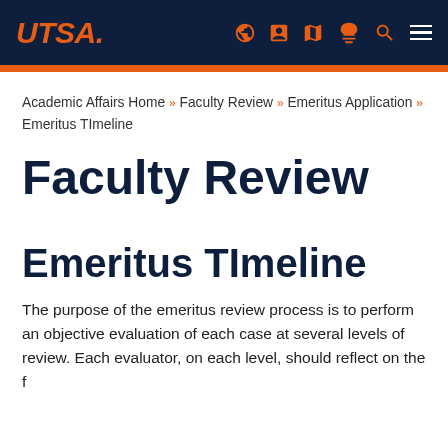UTSA
Academic Affairs Home >> Faculty Review >> Emeritus Application >> Emeritus TImeline
Faculty Review
Emeritus TImeline
The purpose of the emeritus review process is to perform an objective evaluation of each case at several levels of review. Each evaluator, on each level, should reflect on the f...